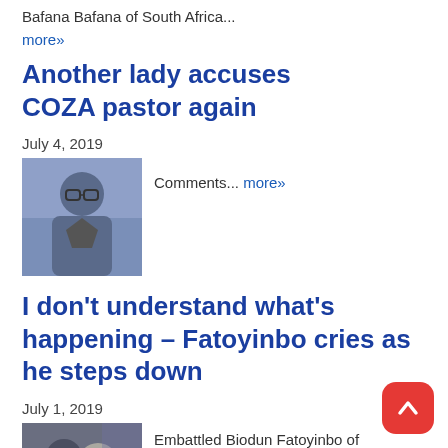Bafana Bafana of South Africa...
more»
Another lady accuses COZA pastor again
July 4, 2019
[Figure (photo): Photo of COZA pastor]
Comments... more»
I don’t understand what’s happening – Fatoyinbo cries as he steps down
July 1, 2019
[Figure (photo): Photo of Biodun Fatoyinbo and woman]
Embattled Biodun Fatoyinbo of Commonwealth of Zion Assembly has finally stepped